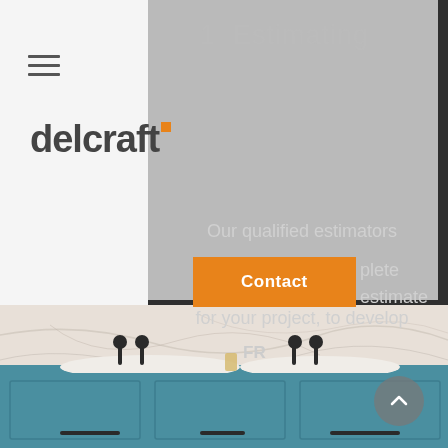[Figure (screenshot): Delcraft website screenshot showing a bathroom renovation company page with logo, navigation hamburger menu, section heading '1 Estimating', descriptive text about qualified estimators, an orange Contact button, FR language option, and a bathroom photo at the bottom with teal cabinets and marble backsplash.]
1  Estimating
Our qualified estimators provide a complete estimate for your project, to develop cost-effective strategies for materials and associated project expenses.
Contact
FR